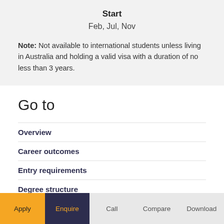Start
Feb, Jul, Nov
Note: Not available to international students unless living in Australia and holding a valid visa with a duration of no less than 3 years.
Go to
Overview
Career outcomes
Entry requirements
Degree structure
Apply  Enquire  Call  Compare  Download